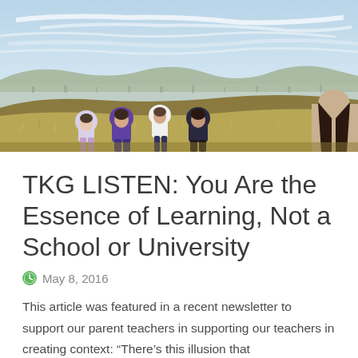[Figure (photo): Four children viewed from behind standing on a hillside overlooking a city landscape under a partly cloudy sky. Dry grassy fields in the foreground, urban sprawl in the background.]
TKG LISTEN: You Are the Essence of Learning, Not a School or University
May 8, 2016
This article was featured in a recent newsletter to support our parent teachers in supporting our teachers in creating context: “There’s this illusion that